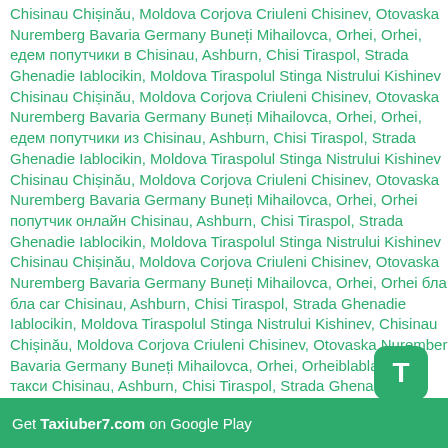Chisinau Chișinău, Moldova Corjova Criuleni Chisinev, Otovaska Nuremberg Bavaria Germany Buneți Mihailovca, Orhei, Orhei, едем попутчики в Chisinau, Ashburn, Chisi Tiraspol, Strada Ghenadie Iablocikin, Moldova Tiraspolul Stinga Nistrului Kishinev Chisinau Chișinău, Moldova Corjova Criuleni Chisinev, Otovaska Nuremberg Bavaria Germany Buneți Mihailovca, Orhei, Orhei, едем попутчики из Chisinau, Ashburn, Chisi Tiraspol, Strada Ghenadie Iablocikin, Moldova Tiraspolul Stinga Nistrului Kishinev Chisinau Chișinău, Moldova Corjova Criuleni Chisinev, Otovaska Nuremberg Bavaria Germany Buneți Mihailovca, Orhei, Orhei попутчик онлайн Chisinau, Ashburn, Chisi Tiraspol, Strada Ghenadie Iablocikin, Moldova Tiraspolul Stinga Nistrului Kishinev Chisinau Chișinău, Moldova Corjova Criuleni Chisinev, Otovaska Nuremberg Bavaria Germany Buneți Mihailovca, Orhei, Orhei бла бла car Chisinau, Ashburn, Chisi Tiraspol, Strada Ghenadie Iablocikin, Moldova Tiraspolul Stinga Nistrului Kishinev, Chisinau Chișinău, Moldova Corjova Criuleni Chisinev, Otovaska Nuremberg Bavaria Germany Buneți Mihailovca, Orhei, Orheiblabla кар такси Chisinau, Ashburn, Chisi Tiraspol, Strada Ghenadie Iablocikin, Moldova Tiraspolul Stinga Nistrului Kishinev, Chisinau Chișinău, Moldova Corjova Criuleni Chisinev, Otovaska mber Bavaria Germany Buneți Mihailovca, Orhei, Orhei такси убер Chisinau, Ashburn, Chisi Tiraspol, Strada Ghenadie Iablicikin, Moldova Tiraspolul Stinga Nistrului Kishinev, Chisinau Chișinău, Moldova Corjova Criuleni Chisinev, Otovaska Nurember
[Figure (logo): Green rounded square icon with white letter T]
Get Taxiuber7.com on Google Play